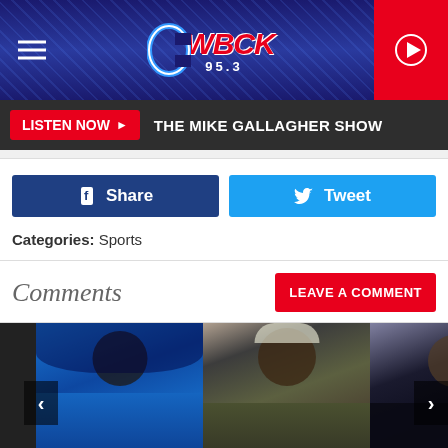WBCK 95.3 - The Mike Gallagher Show
LISTEN NOW ▶  THE MIKE GALLAGHER SHOW
f Share   🐦 Tweet
Categories: Sports
Comments
LEAVE A COMMENT
[Figure (photo): Three celebrities side by side: person in blue hoodie on left, person in olive jacket with chain in center, person in black shirt on right with audience visible in background]